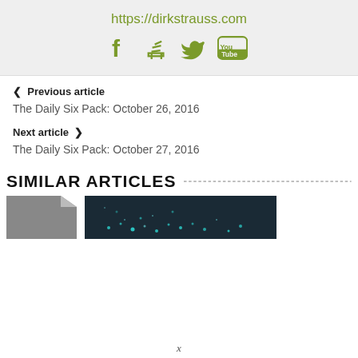https://dirkstrauss.com
[Figure (other): Social media icons: Facebook, Stack Overflow, Twitter, YouTube in olive/green color]
< Previous article
The Daily Six Pack: October 26, 2016
Next article >
The Daily Six Pack: October 27, 2016
SIMILAR ARTICLES
[Figure (photo): Left thumbnail: grey document/file icon. Right thumbnail: dark teal background with scattered teal/cyan light particles or dots.]